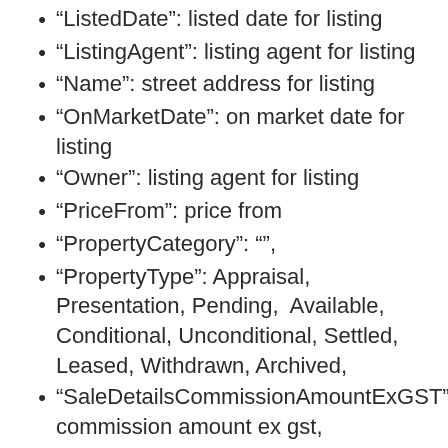"ListedDate": listed date for listing
"ListingAgent": listing agent for listing
"Name": street address for listing
"OnMarketDate": on market date for listing
"Owner": listing agent for listing
"PriceFrom": price from
"PropertyCategory": "",
"PropertyType": Appraisal, Presentation, Pending, Available, Conditional, Unconditional, Settled, Leased, Withdrawn, Archived,
"SaleDetailsCommissionAmountExGST": commission amount ex gst,
"SaleDetailsCommissionAmountIncGST": commission amount inc gst,
"SaleDetailsPrice": price on listing,
"SecondaryAppraisalAgent": second